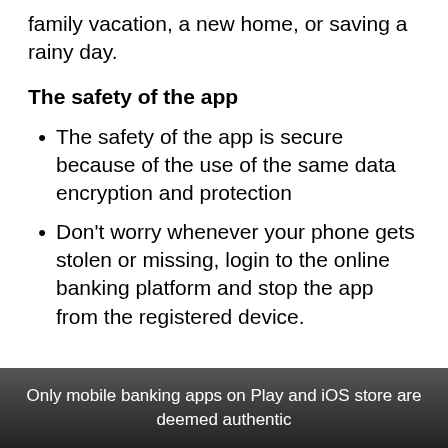family vacation, a new home, or saving a rainy day.
The safety of the app
The safety of the app is secure because of the use of the same data encryption and protection
Don't worry whenever your phone gets stolen or missing, login to the online banking platform and stop the app from the registered device.
Only mobile banking apps on Play and iOS store are deemed authentic